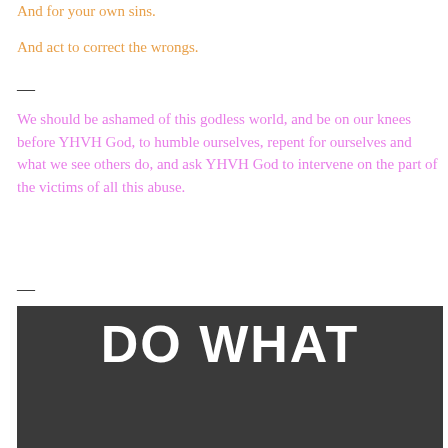And for your own sins.
And act to correct the wrongs.
—
We should be ashamed of this godless world, and be on our knees before YHVH God, to humble ourselves, repent for ourselves and what we see others do, and ask YHVH God to intervene on the part of the victims of all this abuse.
—
[Figure (photo): Dark background image with large bold white text reading 'DO WHAT']